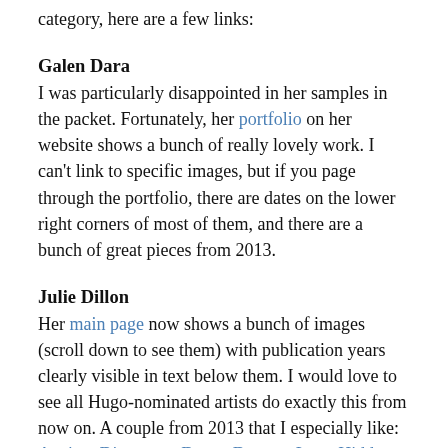category, here are a few links:
Galen Dara
I was particularly disappointed in her samples in the packet. Fortunately, her portfolio on her website shows a bunch of really lovely work. I can't link to specific images, but if you page through the portfolio, there are dates on the lower right corners of most of them, and there are a bunch of great pieces from 2013.
Julie Dillon
Her main page now shows a bunch of images (scroll down to see them) with publication years clearly visible in text below them. I would love to see all Hugo-nominated artists do exactly this from now on. A couple from 2013 that I especially like: Ancient Discovery, Desert Dragon, Long Hidden. (Not sure